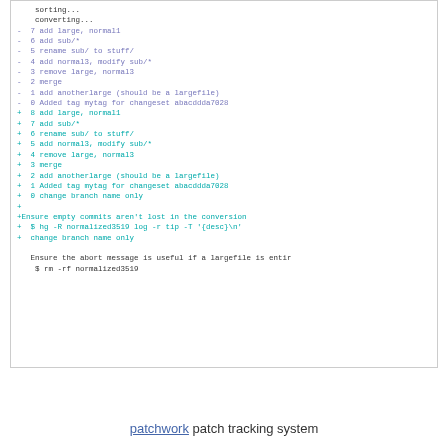sorting...
converting...
-  7 add large, normal1
-  6 add sub/*
-  5 rename sub/ to stuff/
-  4 add normal3, modify sub/*
-  3 remove large, normal3
-  2 merge
-  1 add anotherlarge (should be a largefile)
-  0 Added tag mytag for changeset abacddda7028
+  8 add large, normal1
+  7 add sub/*
+  6 rename sub/ to stuff/
+  5 add normal3, modify sub/*
+  4 remove large, normal3
+  3 merge
+  2 add anotherlarge (should be a largefile)
+  1 Added tag mytag for changeset abacddda7028
+  0 change branch name only
+
+Ensure empty commits aren't lost in the conversion
+  $ hg -R normalized3519 log -r tip -T '{desc}\n'
+  change branch name only

   Ensure the abort message is useful if a largefile is entir
    $ rm -rf normalized3519
patchwork patch tracking system